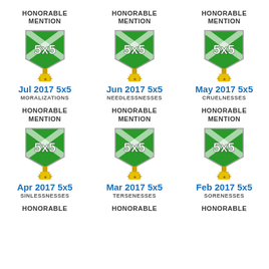[Figure (illustration): 6 honorable mention 5x5 medals arranged in a 3-column grid with month labels and word labels, plus partial row of 3 more medals at bottom]
Jul 2017 5x5 MORALIZATIONS
Jun 2017 5x5 NEEDLESSNESSES
May 2017 5x5 CRUELNESSES
Apr 2017 5x5 SINLESSNESSES
Mar 2017 5x5 TERSENESSES
Feb 2017 5x5 SORENESSES